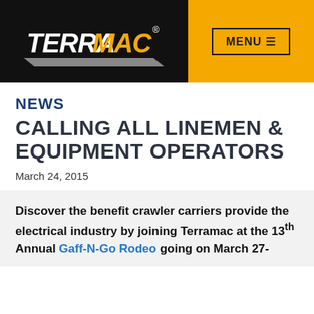[Figure (logo): Terramac logo in white/yellow on black background, with MENU button on yellow background]
NEWS
CALLING ALL LINEMEN & EQUIPMENT OPERATORS
March 24, 2015
Discover the benefit crawler carriers provide the electrical industry by joining Terramac at the 13th Annual Gaff-N-Go Rodeo going on March 27-